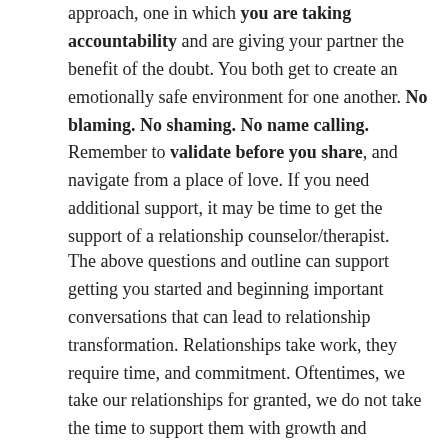approach, one in which you are taking accountability and are giving your partner the benefit of the doubt. You both get to create an emotionally safe environment for one another. No blaming. No shaming. No name calling. Remember to validate before you share, and navigate from a place of love. If you need additional support, it may be time to get the support of a relationship counselor/therapist.
The above questions and outline can support getting you started and beginning important conversations that can lead to relationship transformation. Relationships take work, they require time, and commitment. Oftentimes, we take our relationships for granted, we do not take the time to support them with growth and expansion and then we get frustrated when they are not